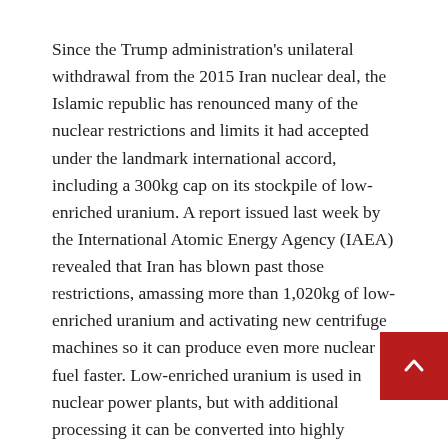Since the Trump administration's unilateral withdrawal from the 2015 Iran nuclear deal, the Islamic republic has renounced many of the nuclear restrictions and limits it had accepted under the landmark international accord, including a 300kg cap on its stockpile of low-enriched uranium. A report issued last week by the International Atomic Energy Agency (IAEA) revealed that Iran has blown past those restrictions, amassing more than 1,020kg of low-enriched uranium and activating new centrifuge machines so it can produce even more nuclear fuel faster. Low-enriched uranium is used in nuclear power plants, but with additional processing it can be converted into highly enriched uranium for nuclear bombs.
With the bigger stockpile, Iran has dramatically shrunk